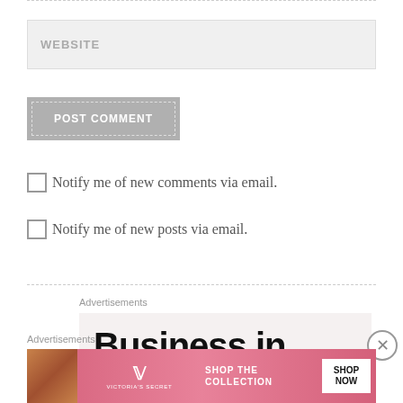WEBSITE
POST COMMENT
Notify me of new comments via email.
Notify me of new posts via email.
Advertisements
[Figure (other): Advertisement banner with text 'Business in']
Advertisements
[Figure (other): Victoria's Secret advertisement: SHOP THE COLLECTION with SHOP NOW button]